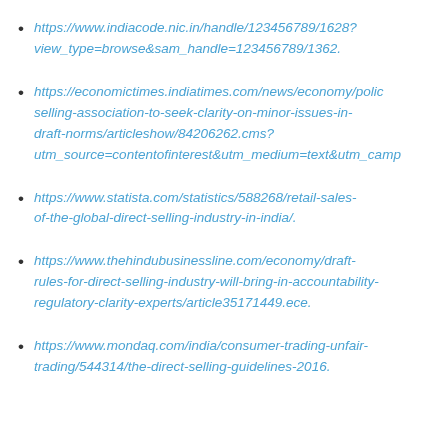https://www.indiacode.nic.in/handle/123456789/1628?view_type=browse&sam_handle=123456789/1362.
https://economictimes.indiatimes.com/news/economy/policy/selling-association-to-seek-clarity-on-minor-issues-in-draft-norms/articleshow/84206262.cms?utm_source=contentofinterest&utm_medium=text&utm_camp
https://www.statista.com/statistics/588268/retail-sales-of-the-global-direct-selling-industry-in-india/.
https://www.thehindubusinessline.com/economy/draft-rules-for-direct-selling-industry-will-bring-in-accountability-regulatory-clarity-experts/article35171449.ece.
https://www.mondaq.com/india/consumer-trading-unfair-trading/544314/the-direct-selling-guidelines-2016.